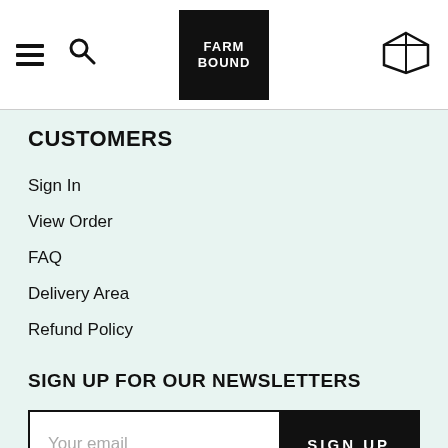Farm Bound — navigation header with menu, search, logo, and cart icons
CUSTOMERS
Sign In
View Order
FAQ
Delivery Area
Refund Policy
SIGN UP FOR OUR NEWSLETTERS
Your email / SIGN UP form